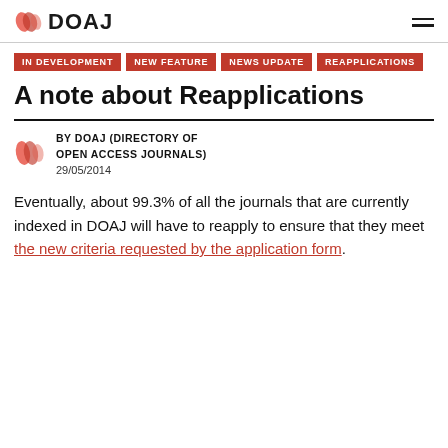DOAJ
IN DEVELOPMENT
NEW FEATURE
NEWS UPDATE
REAPPLICATIONS
A note about Reapplications
BY DOAJ (DIRECTORY OF OPEN ACCESS JOURNALS)
29/05/2014
Eventually, about 99.3% of all the journals that are currently indexed in DOAJ will have to reapply to ensure that they meet the new criteria requested by the application form.